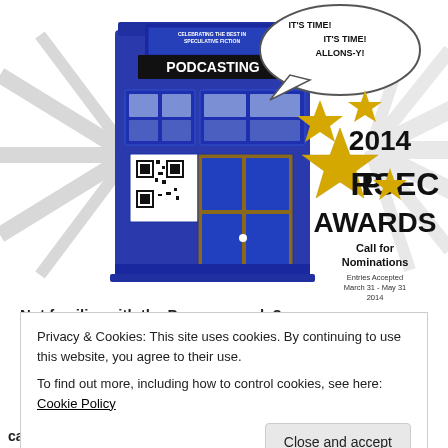[Figure (illustration): 2014 Parsec Awards Call for Nominations poster featuring a blue TARDIS with a speech bubble saying IT'S TIME! IT'S TIME! ALLONS-Y!, stars, sunburst background, text reading Celebrating the Best in Speculative Fiction Podcasting, 2014 Parsec Awards, Call for Nominations, Entries Accepted March 31 - May 31 2014, Awards Presented at DragonCon 2014, Visit www.parsecawards.com for additional information.]
Not familiar with the Parsec awards?
Privacy & Cookies: This site uses cookies. By continuing to use this website, you agree to their use. To find out more, including how to control cookies, see here: Cookie Policy
categories for original content, the creative process, or just